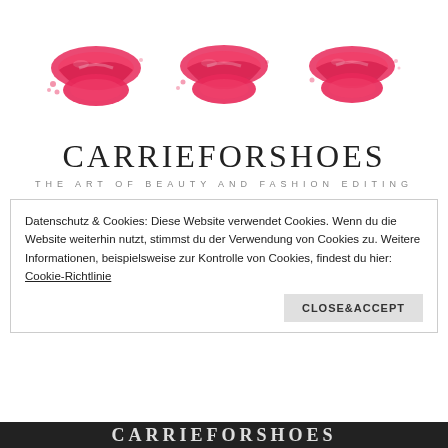[Figure (illustration): Three red lip print / kiss mark icons arranged horizontally]
CARRIEFORSHOES
THE ART OF BEAUTY AND FASHION EDITING
Datenschutz & Cookies: Diese Website verwendet Cookies. Wenn du die Website weiterhin nutzt, stimmst du der Verwendung von Cookies zu. Weitere Informationen, beispielsweise zur Kontrolle von Cookies, findest du hier: Cookie-Richtlinie
CLOSE&ACCEPT
CARRIEFORSHOES